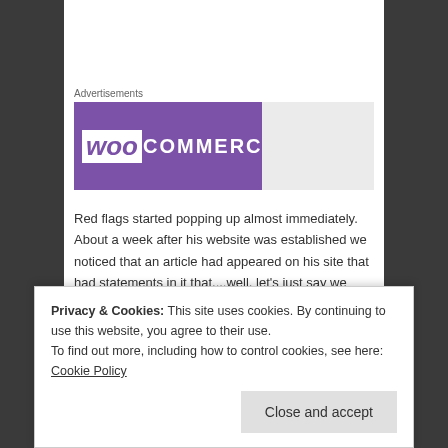Advertisements
[Figure (logo): WooCommerce logo banner — purple background on left with stylized 'Woo' and 'COMMERCE' text in white, gray area on right]
Red flags started popping up almost immediately. About a week after his website was established we noticed that an article had appeared on his site that had statements in it that....well, let's just say we could not support them.
We caught that one quickly however, raised our concerns with him, and he agreed to take the article
Privacy & Cookies: This site uses cookies. By continuing to use this website, you agree to their use.
To find out more, including how to control cookies, see here: Cookie Policy
Perhaps naively, we put that down to the fact that,